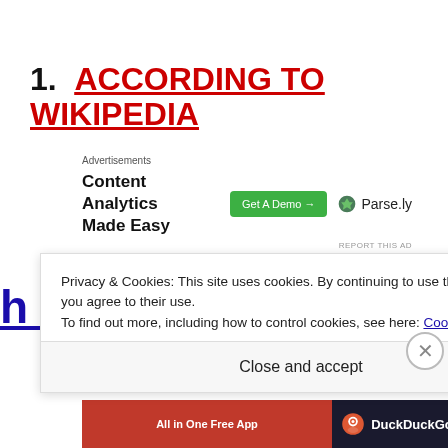1. ACCORDING TO WIKIPEDIA
Advertisements
[Figure (other): Parse.ly advertisement banner: 'Content Analytics Made Easy' with green 'Get A Demo →' button and Parse.ly logo]
REPORT THIS AD
h... iki (partially visible background link text)
Privacy & Cookies: This site uses cookies. By continuing to use this website, you agree to their use.
To find out more, including how to control cookies, see here: Cookie Policy
Close and accept
[Figure (other): Bottom advertisement banner with orange/red background showing 'All in One Free App' and DuckDuckGo logo on dark background]